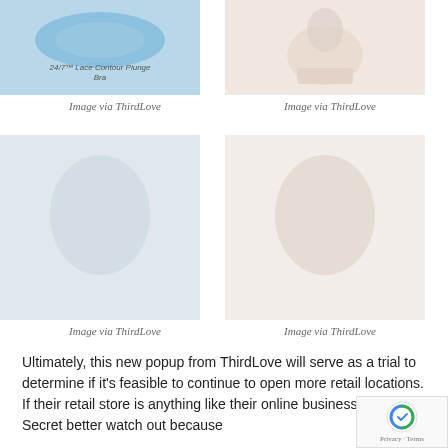[Figure (photo): Blue bra product photo with label '24/7™ Lace Contour Plunge Bra']
Image via ThirdLove
[Figure (photo): Nude/ivory lingerie product photo]
Image via ThirdLove
[Figure (photo): ThirdLove product photo]
Image via ThirdLove
[Figure (photo): ThirdLove product photo]
Image via ThirdLove
Ultimately, this new popup from ThirdLove will serve as a trial to determine if it's feasible to continue to open more retail locations. If their retail store is anything like their online business, Victoria's Secret better watch out because